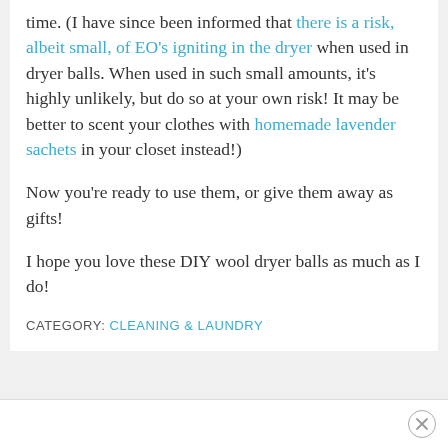time. (I have since been informed that there is a risk, albeit small, of EO's igniting in the dryer when used in dryer balls. When used in such small amounts, it's highly unlikely, but do so at your own risk! It may be better to scent your clothes with homemade lavender sachets in your closet instead!)
Now you're ready to use them, or give them away as gifts!
I hope you love these DIY wool dryer balls as much as I do!
CATEGORY: CLEANING & LAUNDRY